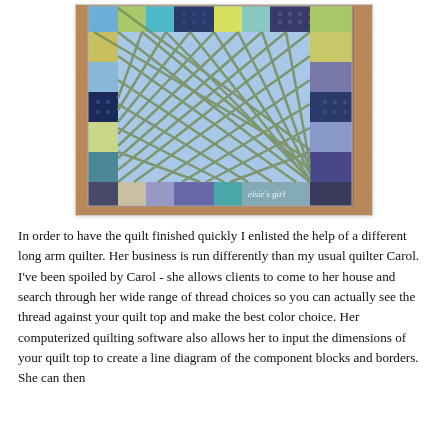[Figure (photo): A patchwork quilt photographed from above on a wooden floor. The quilt features a large central panel with a blue and olive green diamond/argyle lattice pattern, surrounded by colorful patchwork border blocks in yellow-green, teal, navy, blue, purple, and cream fabrics with various patterns. A watermark reads 'elsie's girl' in the lower right area of the quilt.]
In order to have the quilt finished quickly I enlisted the help of a different long arm quilter. Her business is run differently than my usual quilter Carol. I've been spoiled by Carol - she allows clients to come to her house and search through her wide range of thread choices so you can actually see the thread against your quilt top and make the best color choice. Her computerized quilting software also allows her to input the dimensions of your quilt top to create a line diagram of the component blocks and borders. She can then